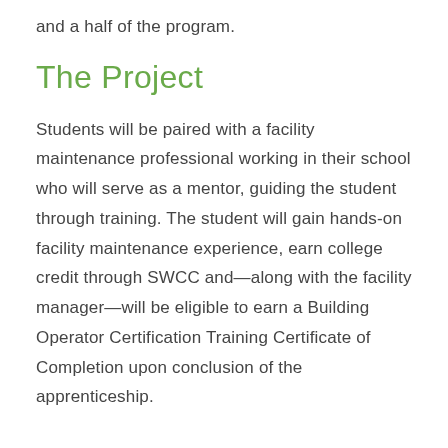and a half of the program.
The Project
Students will be paired with a facility maintenance professional working in their school who will serve as a mentor, guiding the student through training. The student will gain hands-on facility maintenance experience, earn college credit through SWCC and—along with the facility manager—will be eligible to earn a Building Operator Certification Training Certificate of Completion upon conclusion of the apprenticeship.